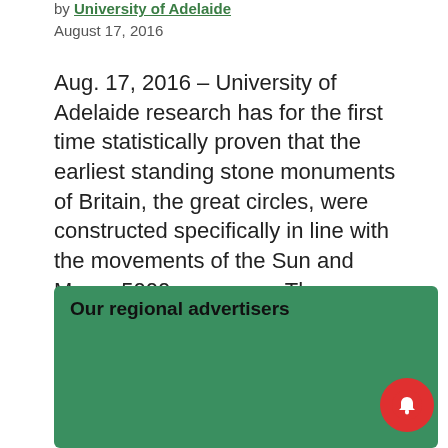by University of Adelaide
August 17, 2016
Aug. 17, 2016 – University of Adelaide research has for the first time statistically proven that the earliest standing stone monuments of Britain, the great circles, were constructed specifically in line with the movements of the Sun and Moon, 5000 years ago. The research, published in the Journal of Archaeological Science: Reports, details the use [...]
Our regional advertisers